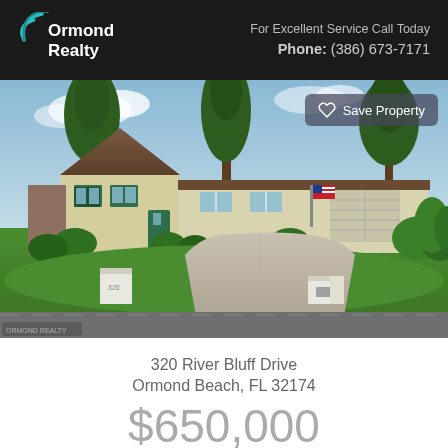Ormond Realty | For Excellent Service Call Today | Phone: (386) 673-7171
[Figure (photo): Exterior photo of a single-story Florida ranch house with green shutters, large trees, manicured lawn, curved concrete driveway, white brick mailbox and entry pillar, American flag on the facade, and lush tropical landscaping.]
320 River Bluff Drive
Ormond Beach, FL 32174
$650,000